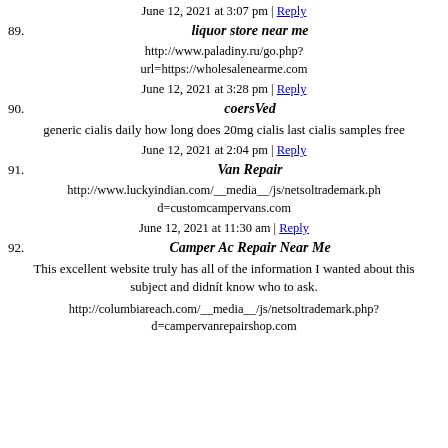June 12, 2021 at 3:07 pm | Reply
89. liquor store near me
http://www.paladiny.ru/go.php?url=https://wholesalenearme.com
June 12, 2021 at 3:28 pm | Reply
90. coersVed
generic cialis daily how long does 20mg cialis last cialis samples free
June 12, 2021 at 2:04 pm | Reply
91. Van Repair
http://www.luckyindian.com/__media__/js/netsoltrademark.php?d=customcampervans.com
June 12, 2021 at 11:30 am | Reply
92. Camper Ac Repair Near Me
This excellent website truly has all of the information I wanted about this subject and didnít know who to ask.
http://columbiareach.com/__media__/js/netsoltrademark.php?d=campervanrepairshop.com